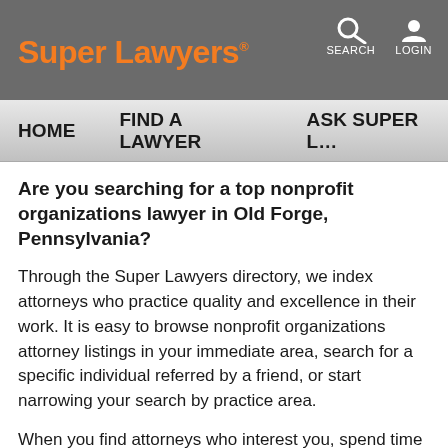Super Lawyers® — SEARCH LOGIN
HOME   FIND A LAWYER   ASK SUPER L…
Are you searching for a top nonprofit organizations lawyer in Old Forge, Pennsylvania?
Through the Super Lawyers directory, we index attorneys who practice quality and excellence in their work. It is easy to browse nonprofit organizations attorney listings in your immediate area, search for a specific individual referred by a friend, or start narrowing your search by practice area.
When you find attorneys who interest you, spend time and explore their profiles. There you will find the nonprofit organizations attorney's contact, education, and biographical information to supplement your research. Where possible, our profiles will also include links to the nonprofit